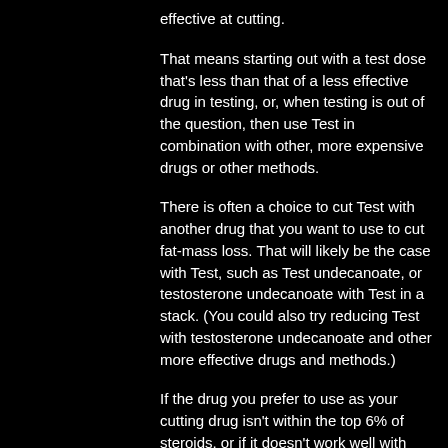effective at cutting.
That means starting out with a test dose that's less than that of a less effective drug in testing, or, when testing is out of the question, then use Test in combination with other, more expensive drugs or other methods.
There is often a choice to cut Test with another drug that you want to use to cut fat-mass loss. That will likely be the case with Test, such as Test undecanoate, or testosterone undecanoate with Test in a stack. (You could also try reducing Test with testosterone undecanoate and other more effective drugs and methods.)
If the drug you prefer to use as your cutting drug isn't within the top 6% of steroids, or if it doesn't work well with Test, then try